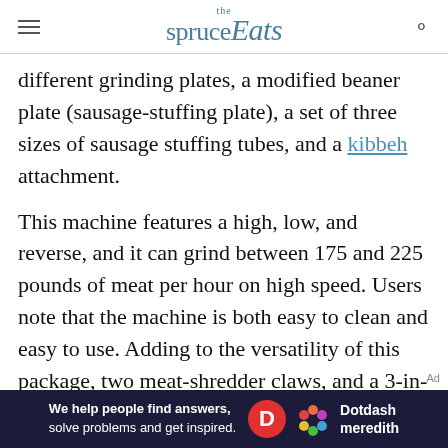the spruce Eats
different grinding plates, a modified beaner plate (sausage-stuffing plate), a set of three sizes of sausage stuffing tubes, and a kibbeh attachment.
This machine features a high, low, and reverse, and it can grind between 175 and 225 pounds of meat per hour on high speed. Users note that the machine is both easy to clean and easy to use. Adding to the versatility of this package, two meat-shredder claws, and a 3-in-1 burger-slider press/maker are also included. Made of
[Figure (other): Dotdash Meredith advertisement banner: 'We help people find answers, solve problems and get inspired.' with D logo and flower logo]